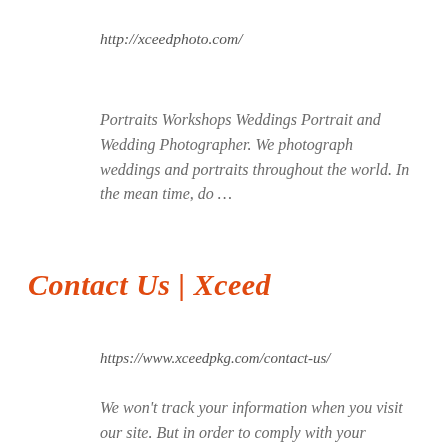http://xceedphoto.com/
Portraits Workshops Weddings Portrait and Wedding Photographer. We photograph weddings and portraits throughout the world. In the mean time, do …
Contact Us | Xceed
https://www.xceedpkg.com/contact-us/
We won't track your information when you visit our site. But in order to comply with your